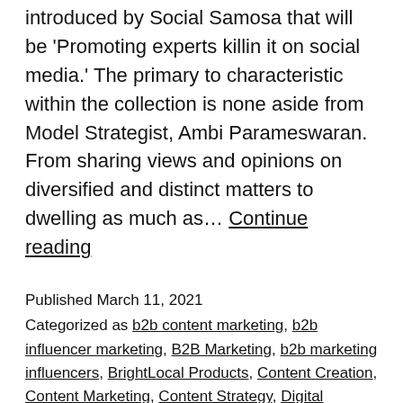introduced by Social Samosa that will be 'Promoting experts killin it on social media.' The primary to characteristic within the collection is none aside from Model Strategist, Ambi Parameswaran. From sharing views and opinions on diversified and distinct matters to dwelling as much as… Continue reading
Published March 11, 2021
Categorized as b2b content marketing, b2b influencer marketing, B2B Marketing, b2b marketing influencers, BrightLocal Products, Content Creation, Content Marketing, Content Strategy, Digital Marketing, Digital marketing jobs, digital marketing news, Google My Business, Local SEO, Online Marketing News, SEO & SEM, Social Media, Social…